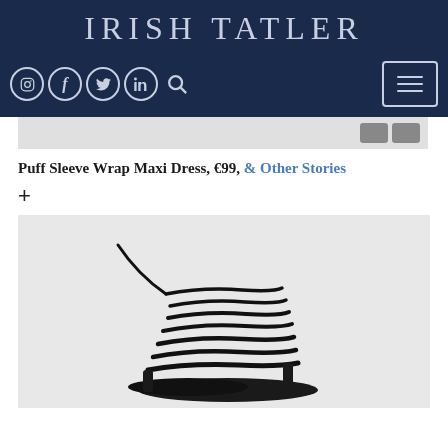IRISH TATLER
[Figure (screenshot): Navigation bar with social media icons (Instagram, Facebook, Twitter, LinkedIn), search icon, and hamburger menu button on dark navy background]
[Figure (photo): Partial product image strip at top, light gray background with navigation arrows]
Puff Sleeve Wrap Maxi Dress, €99, & Other Stories
+
[Figure (photo): Product photo on light gray background showing black strappy wrap sandal with multiple thin leather straps coiled around ankle area]